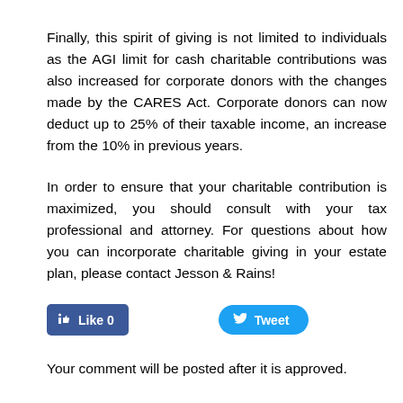Finally, this spirit of giving is not limited to individuals as the AGI limit for cash charitable contributions was also increased for corporate donors with the changes made by the CARES Act. Corporate donors can now deduct up to 25% of their taxable income, an increase from the 10% in previous years.
In order to ensure that your charitable contribution is maximized, you should consult with your tax professional and attorney. For questions about how you can incorporate charitable giving in your estate plan, please contact Jesson & Rains!
[Figure (other): Social sharing buttons: Facebook Like (0) and Tweet]
Your comment will be posted after it is approved.